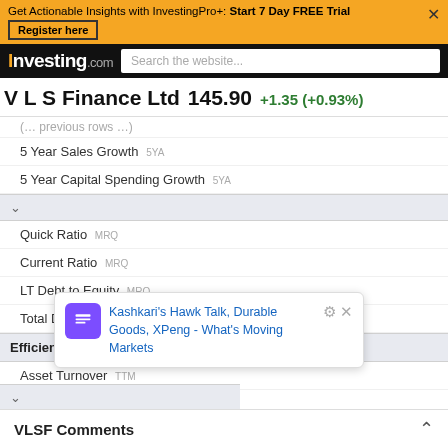Get Actionable Insights with InvestingPro+: Start 7 Day FREE Trial — Register here
Investing.com — Search the website...
V L S Finance Ltd  145.90  +1.35 (+0.93%)
5 Year Sales Growth 5YA
5 Year Capital Spending Growth 5YA
Quick Ratio MRQ
Current Ratio MRQ
LT Debt to Equity MRQ
Total Debt to Equity MRQ
Efficiency
Asset Turnover TTM
Inventory Turnover
Revenue/Employee
Net Income/Employee
Receivable Turnover TTM
Kashkari's Hawk Talk, Durable Goods, XPeng - What's Moving Markets
Dividend Yield
VLSF Comments